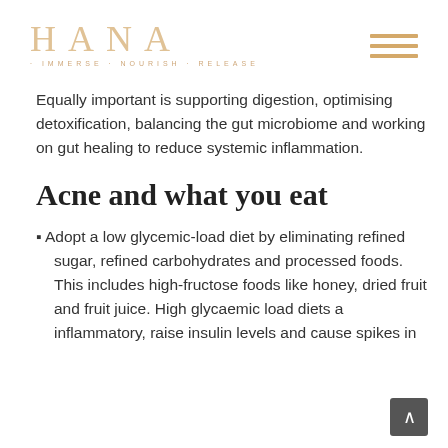HANA · IMMERSE · NOURISH · RELEASE
Equally important is supporting digestion, optimising detoxification, balancing the gut microbiome and working on gut healing to reduce systemic inflammation.
Acne and what you eat
Adopt a low glycemic-load diet by eliminating refined sugar, refined carbohydrates and processed foods. This includes high-fructose foods like honey, dried fruit and fruit juice. High glycaemic load diets a inflammatory, raise insulin levels and cause spikes in